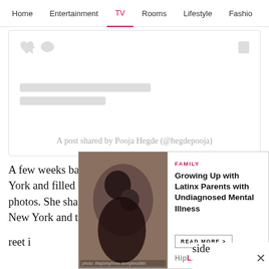Home | Entertainment | TV | Rooms | Lifestyle | Fashio
[Figure (screenshot): Embedded social media post placeholder card with placeholder icons and grey bars, showing caption: A post shared by Pooja Hegde (@hegdepooja)]
A post shared by Pooja Hegde (@hegdepooja)
A few weeks back, Pooja went on a vacation to New York and filled social media with some drool-worthy photos. She shared some photos as she took a stroll in New York and turned the streets of
[Figure (photo): Advertisement overlay for HipLatina article: FAMILY - Growing Up with Latinx Parents with Undiagnosed Mental Illness, with photo of two people embracing]
reet i
On the side